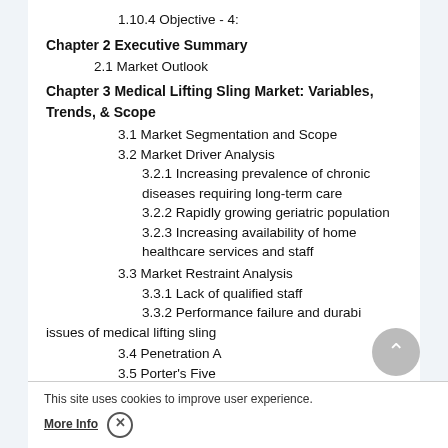1.10.4 Objective - 4:
Chapter 2 Executive Summary
2.1 Market Outlook
Chapter 3 Medical Lifting Sling Market: Variables, Trends, & Scope
3.1 Market Segmentation and Scope
3.2 Market Driver Analysis
3.2.1 Increasing prevalence of chronic diseases requiring long-term care
3.2.2 Rapidly growing geriatric population
3.2.3 Increasing availability of home healthcare services and staff
3.3 Market Restraint Analysis
3.3.1 Lack of qualified staff
3.3.2 Performance failure and durability issues of medical lifting sling
3.4 Penetration Analysis
3.5 Porter's Five
3.6 PESTEL Analysis
This site uses cookies to improve user experience.